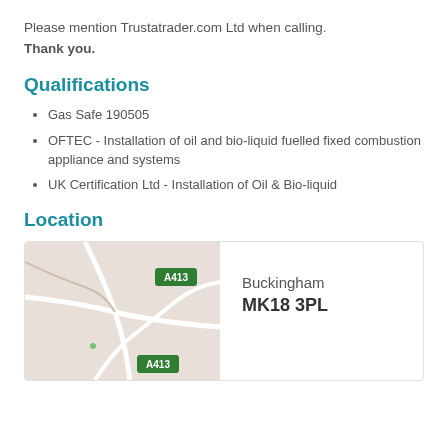Please mention Trustatrader.com Ltd when calling. Thank you.
Qualifications
Gas Safe 190505
OFTEC - Installation of oil and bio-liquid fuelled fixed combustion appliance and systems
UK Certification Ltd - Installation of Oil & Bio-liquid
Location
[Figure (map): Map showing Buckingham area with A413 road signs marked in green]
Buckingham MK18 3PL